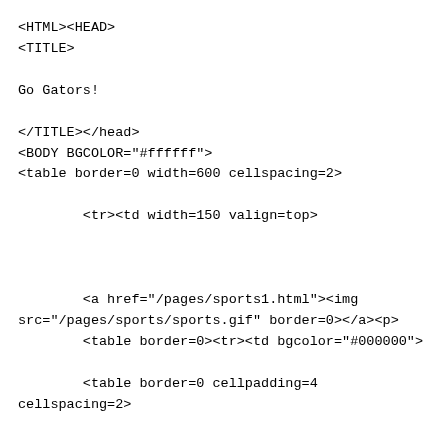<HTML><HEAD>
<TITLE>

Go Gators!

</TITLE></head>
<BODY BGCOLOR="#ffffff">
<table border=0 width=600 cellspacing=2>

        <tr><td width=150 valign=top>



        <a href="/pages/sports1.html"><img
src="/pages/sports/sports.gif" border=0></a><p>
        <table border=0><tr><td bgcolor="#000000">

        <table border=0 cellpadding=4 cellspacing=2>



<tr><TD valign=top width=135 bgcolor="#DFDFDF">
                <font color="#701B73"><B>Joke
Categories</B></font></TD>
                </TR>
                <tr>
                <td width=130 bgcolor="#ffffff"
align=center>
                <font size=1 face="arial">
                <form method=post action="/cgi-
bin/jokeselect.pl">